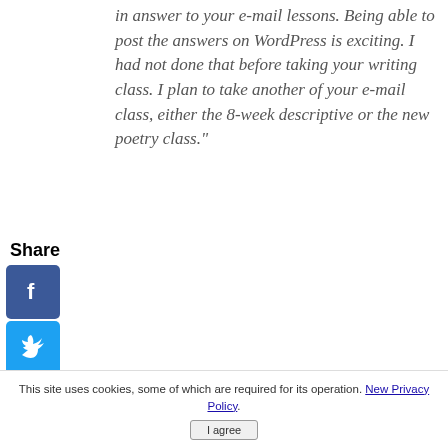in answer to your e-mail lessons. Being able to post the answers on WordPress is exciting. I had not done that before taking your writing class. I plan to take another of your e-mail class, either the 8-week descriptive or the new poetry class."
- James Sciullo
"The Irresistible Fiction course is going well. I see why it's a bestseller. I can't wait for the next email."
- Kayode
[Figure (infographic): Share button with social media icons: Facebook (blue), Twitter (light blue), Pinterest (red), Tumblr (dark blue), Reddit (orange), WhatsApp (green), and a back arrow]
This site uses cookies, some of which are required for its operation. New Privacy Policy. I agree